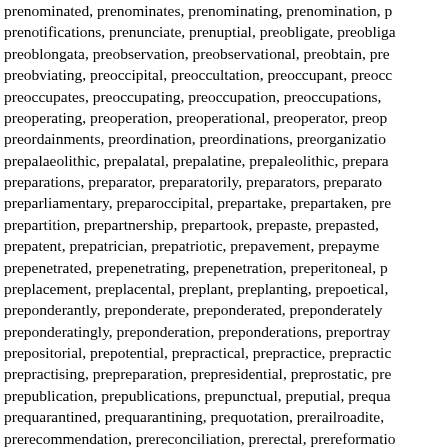prenominated, prenominates, prenominating, prenomination, prenotifications, prenunciate, prenuptial, preobligate, preoblongata, preobservation, preobservational, preobtain, preobviating, preoccipital, preoccultation, preoccupant, preoccupates, preoccupating, preoccupation, preoccupations, preoperating, preoperation, preoperational, preoperator, preordainments, preordination, preordinations, preorganization, prepalaeolithic, prepalatal, prepalatine, prepaleolithic, preparations, preparator, preparatorily, preparators, preparliamentary, preparoccipital, prepartake, prepartaken, prepartition, prepartnership, prepartook, prepaste, prepasted, prepatent, prepatrician, prepatriotic, prepavement, prepayment, prepenetrated, prepenetrating, prepenetration, preperitoneal, preplacement, preplacental, preplant, preplanting, prepoetical, preponderantly, preponderate, preponderated, preponderately, preponderatingly, preponderation, preponderations, preportray, prepositorial, prepotential, prepractical, prepractice, prepractising, prepreparation, prepresidential, preprostatic, prepublication, prepublications, prepunctual, preputial, prequarantined, prequarantining, prequotation, prerailroadite, prerecommendation, prereconciliation, prerectal, prereformation, preregistrations, preregnant, preregulate, preregulated, prerelating, prerelation, prerelationship, prereluctance, preremuerated, preremunerating, preremuenration, prereremunerated, preremunerating, preremuneration, prerental, prerespectable, prerespiration, prerestoration, prerestraint